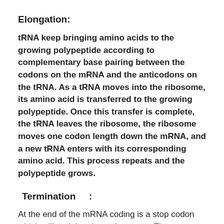Elongation:
tRNA keep bringing amino acids to the growing polypeptide according to complementary base pairing between the codons on the mRNA and the anticodons on the tRNA. As a tRNA moves into the ribosome, its amino acid is transferred to the growing polypeptide. Once this transfer is complete, the tRNA leaves the ribosome, the ribosome moves one codon length down the mRNA, and a new tRNA enters with its corresponding amino acid. This process repeats and the polypeptide grows.
Termination    :
At the end of the mRNA coding is a stop codon which will end the elongation stage. The stop codon